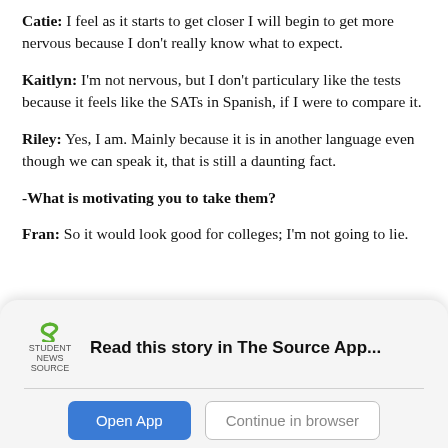Catie: I feel as it starts to get closer I will begin to get more nervous because I don't really know what to expect.
Kaitlyn: I'm not nervous, but I don't particulary like the tests because it feels like the SATs in Spanish, if I were to compare it.
Riley: Yes, I am. Mainly because it is in another language even though we can speak it, that is still a daunting fact.
-What is motivating you to take them?
Fran: So it would look good for colleges; I'm not going to lie.
[Figure (other): Student News Source app banner with logo, 'Read this story in The Source App...' text, 'Open App' button and 'Continue in browser' button]